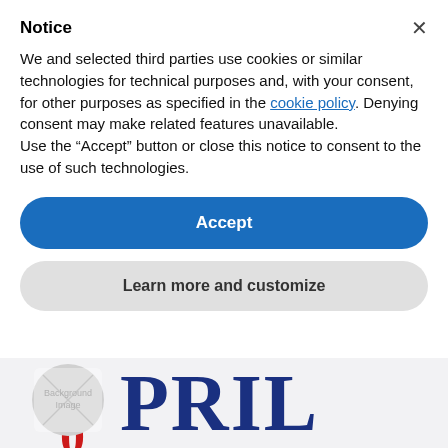Notice
We and selected third parties use cookies or similar technologies for technical purposes and, with your consent, for other purposes as specified in the cookie policy. Denying consent may make related features unavailable.
Use the “Accept” button or close this notice to consent to the use of such technologies.
Accept
Learn more and customize
[Figure (photo): Background image partially visible showing large bold letters 'PRIL' in dark blue on a light background, with a circular placeholder image indicator on the left side. Partial red text visible at bottom.]